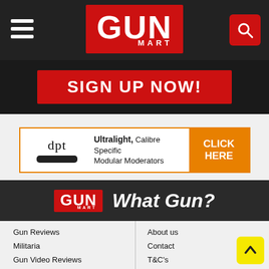GUN MART
[Figure (screenshot): Red banner with white bold text reading SIGN UP NOW!]
[Figure (infographic): dpt advertisement banner: Ultralight, Calibre Specific Modular Moderators with CLICK HERE button in orange]
[Figure (logo): GUN MART logo and What Gun? text on dark background]
Gun Reviews
Militaria
Gun Video Reviews
Competitions
About us
Contact
T&C's
Privacy Policy